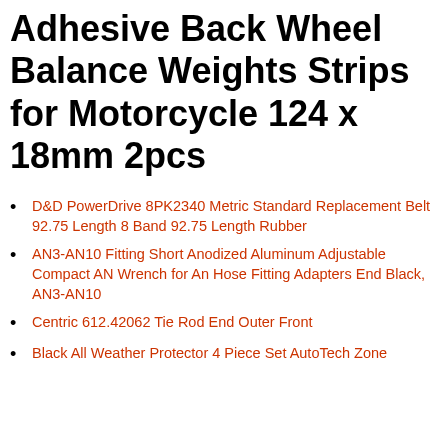Adhesive Back Wheel Balance Weights Strips for Motorcycle 124 x 18mm 2pcs
D&D PowerDrive 8PK2340 Metric Standard Replacement Belt 92.75 Length 8 Band 92.75 Length Rubber
AN3-AN10 Fitting Short Anodized Aluminum Adjustable Compact AN Wrench for An Hose Fitting Adapters End Black, AN3-AN10
Centric 612.42062 Tie Rod End Outer Front
Black All Weather Protector 4 Piece Set AutoTech Zone